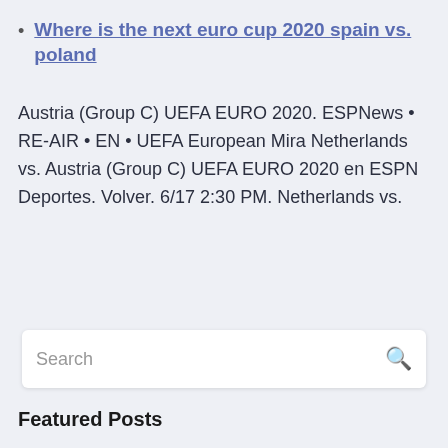Where is the next euro cup 2020 spain vs. poland
Austria (Group C) UEFA EURO 2020. ESPNews • RE-AIR • EN • UEFA European Mira Netherlands vs. Austria (Group C) UEFA EURO 2020 en ESPN Deportes. Volver. 6/17 2:30 PM. Netherlands vs.
Search
Featured Posts